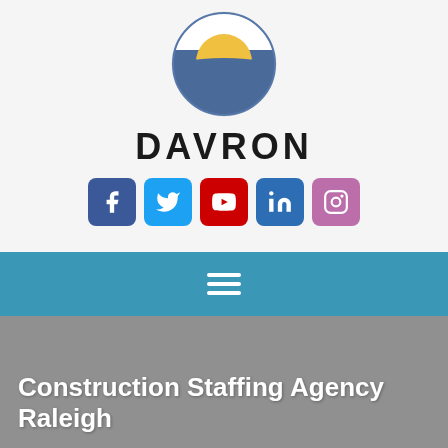[Figure (logo): Davron company logo: circular emblem with a yellow/gold semicircle at top representing a sun, and blue/navy horizontal curved stripes below representing horizon lines, on white background]
DAVRON
[Figure (infographic): Row of five social media icons: Facebook (dark blue), Twitter (light blue), YouTube (red), LinkedIn (dark blue), Instagram (purple/pink)]
[Figure (infographic): Teal/steel blue navigation bar with a white hamburger menu icon (three horizontal lines)]
Construction Staffing Agency Raleigh